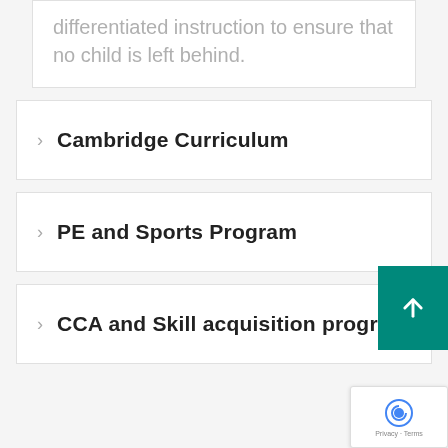differentiated instruction to ensure that no child is left behind.
Cambridge Curriculum
PE and Sports Program
CCA and Skill acquisition program
Privacy · Terms